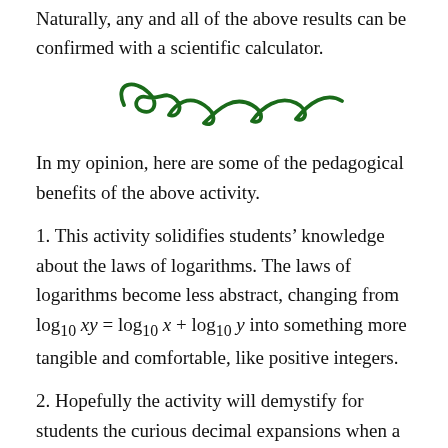Naturally, any and all of the above results can be confirmed with a scientific calculator.
[Figure (illustration): Decorative dark green curly ornamental divider]
In my opinion, here are some of the pedagogical benefits of the above activity.
1. This activity solidifies students' knowledge about the laws of logarithms. The laws of logarithms become less abstract, changing from log₁₀ xy = log₁₀ x + log₁₀ y into something more tangible and comfortable, like positive integers.
2. Hopefully the activity will demystify for students the curious decimal expansions when a calculator returns logarithms. In other words, hopefully the